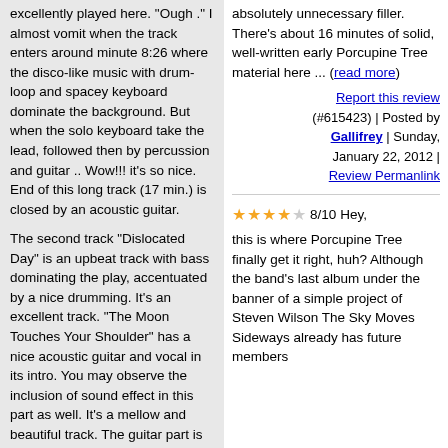excellently played here. "Ough ." I almost vomit when the track enters around minute 8:26 where the disco-like music with drum-loop and spacey keyboard dominate the background. But when the solo keyboard take the lead, followed then by percussion and guitar .. Wow!!! it's so nice. End of this long track (17 min.) is closed by an acoustic guitar.
The second track "Dislocated Day" is an upbeat track with bass dominating the play, accentuated by a nice drumming. It's an excellent track. "The Moon Touches Your Shoulder" has a nice acoustic guitar and vocal in its intro. You may observe the inclusion of sound effect in this part as well. It's a mellow and beautiful track. The guitar part is extremely Floydian. (When I'm playing this tune now, my friend who never knew this band, thought that I am playing Pink Floyd album).
The shortest track "Prepare Yourself" (1:55' minutes) is an instrumental with
absolutely unnecessary filler. There's about 16 minutes of solid, well-written early Porcupine Tree material here ... (read more)
Report this review (#615423) | Posted by Gallifrey | Sunday, January 22, 2012 | Review Permanlink
8/10 Hey, this is where Porcupine Tree finally get it right, huh? Although the band's last album under the banner of a simple project of Steven Wilson The Sky Moves Sideways already has future members